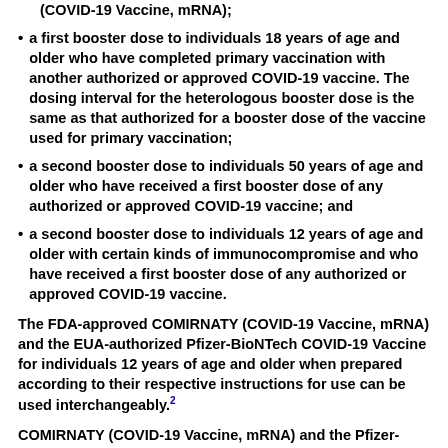(COVID-19 Vaccine, mRNA);
a first booster dose to individuals 18 years of age and older who have completed primary vaccination with another authorized or approved COVID-19 vaccine. The dosing interval for the heterologous booster dose is the same as that authorized for a booster dose of the vaccine used for primary vaccination;
a second booster dose to individuals 50 years of age and older who have received a first booster dose of any authorized or approved COVID-19 vaccine; and
a second booster dose to individuals 12 years of age and older with certain kinds of immunocompromise and who have received a first booster dose of any authorized or approved COVID-19 vaccine.
The FDA-approved COMIRNATY (COVID-19 Vaccine, mRNA) and the EUA-authorized Pfizer-BioNTech COVID-19 Vaccine for individuals 12 years of age and older when prepared according to their respective instructions for use can be used interchangeably.2
COMIRNATY (COVID-19 Vaccine, mRNA) and the Pfizer-BioNTech COVID-19 Vaccine intended for individuals 12 years of age and older should not be used for individuals 6 months through 11 years of age because of the potential for overdosing. interchangeably.3